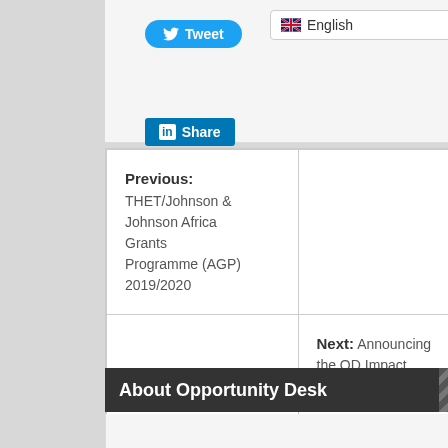[Figure (screenshot): Tweet button (blue rounded) and LinkedIn Share button (blue square) for social sharing]
[Figure (screenshot): Language selector dropdown showing English with UK flag]
Previous: THET/Johnson & Johnson Africa Grants Programme (AGP) 2019/2020
Next: Announcing the OD Impact Challenge 2018 Winners
About Opportunity Desk